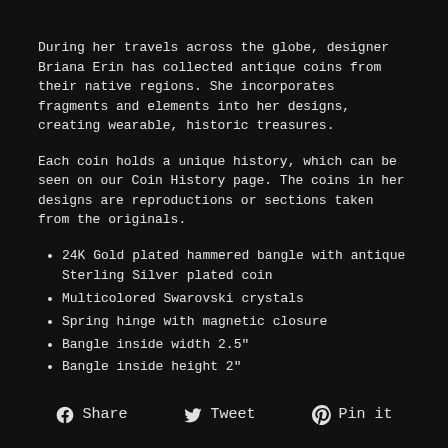During her travels across the globe, designer Briana Erin has collected antique coins from their native regions. She incorporates fragments and elements into her designs, creating wearable, historic treasures.
Each coin holds a unique history, which can be seen on our Coin History page. The coins in her designs are reproductions or sections taken from the originals.
24K Gold plated hammered bangle with antique Sterling Silver plated coin
Multicolored Swarovski crystals
Spring hinge with magnetic closure
Bangle inside width 2.5"
Bangle inside height 2"
Share   Tweet   Pin it